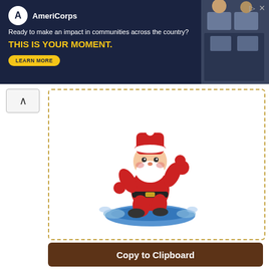[Figure (screenshot): AmeriCorps advertisement banner: dark navy background with AmeriCorps logo, tagline 'Ready to make an impact in communities across the country?', bold yellow text 'THIS IS YOUR MOMENT.', a 'LEARN MORE' button, and a photo of people on the right.]
Santa Surfer
🟧0 - 🟧3 - 🟧0
[Figure (illustration): Cartoon illustration of Santa Claus surfing on a blue surfboard, wearing red suit and white beard, with splashing water effects.]
Copy to Clipboard
[+] Fav (Need Sign in)
Santa Spaceman Astronaut
🟧0 - 🟧1 - 🟧0
[Figure (illustration): Partial view of a Santa Spaceman Astronaut emoji/illustration at the bottom of the page.]